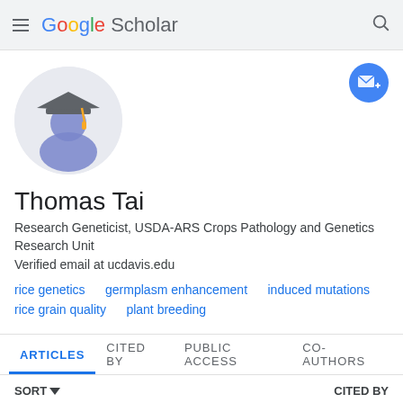Google Scholar
[Figure (illustration): Google Scholar default avatar: person silhouette in blue with graduation cap in dark gray and gold tassel, on light gray circular background]
[Figure (illustration): Blue circular follow/email button with envelope icon and plus sign]
Thomas Tai
Research Geneticist, USDA-ARS Crops Pathology and Genetics Research Unit
Verified email at ucdavis.edu
rice genetics
germplasm enhancement
induced mutations
rice grain quality
plant breeding
ARTICLES    CITED BY    PUBLIC ACCESS    CO-AUTHORS
SORT    CITED BY